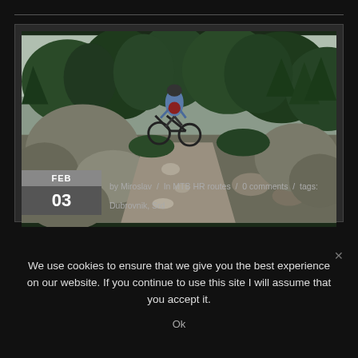[Figure (photo): Mountain biker riding down a rocky trail through green pine forest. Large boulders on the left, pine trees on both sides, overcast sky.]
FEB
03
by Miroslav  /  In MTB HR routes  /  0 comments  /  tags:
Dubrovnik, Srd
We use cookies to ensure that we give you the best experience on our website. If you continue to use this site I will assume that you accept it.
Ok